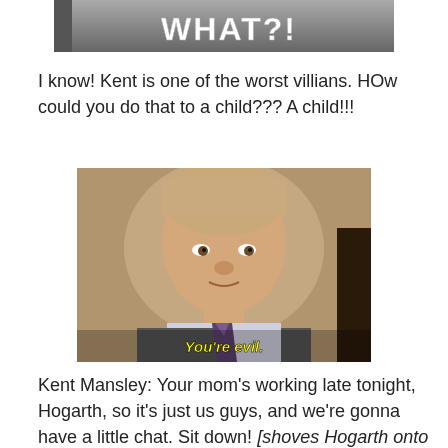[Figure (screenshot): Top portion of a meme image showing text 'WHAT?!' in bold white pixelated letters over a blurred background]
I know! Kent is one of the worst villians. HOw could you do that to a child??? A child!!!
[Figure (photo): Photo of an older man in a suit and tie with subtitle text 'You're evil.' in yellow]
Kent Mansley: Your mom's working late tonight, Hogarth, so it's just us guys, and we're gonna have a little chat. Sit down! [shoves Hogarth onto a chair and shines a bright light on him] How's that? A little too bright? Good. Forgive